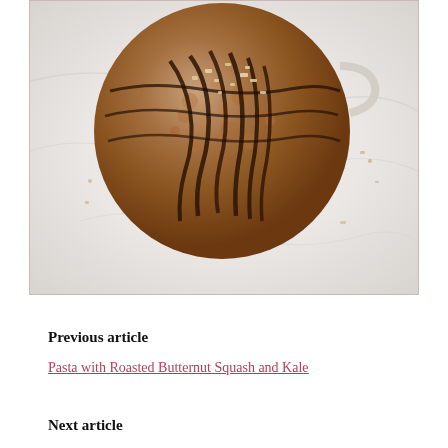[Figure (photo): Top-down view of a hot chocolate or mocha drink in a clear glass mug on a marble surface, topped with chocolate drizzle and chopped nuts/toppings]
Previous article
Pasta with Roasted Butternut Squash and Kale
Next article